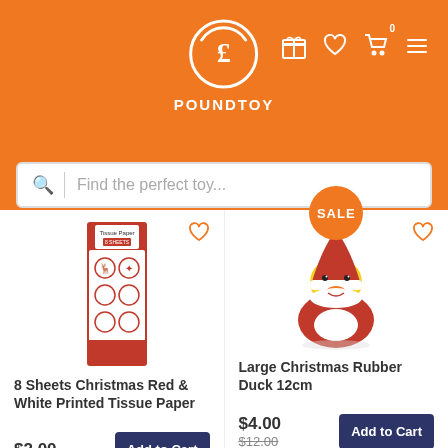POUNDTOY
Find the perfect toy...
[Figure (illustration): 8 Sheets Christmas Red & White Printed Tissue Paper product image]
8 Sheets Christmas Red & White Printed Tissue Paper
$2.00
[Figure (illustration): Large Christmas Rubber Duck 12cm product image - Santa Claus rubber duck]
Large Christmas Rubber Duck 12cm
$4.00  $12.00